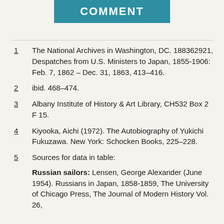COMMENT
1  The National Archives in Washington, DC. 188362921, Despatches from U.S. Ministers to Japan, 1855-1906: Feb. 7, 1862 – Dec. 31, 1863, 413–416.
2  ibid. 468–474.
3  Albany Institute of History & Art Library, CH532 Box 2 F 15.
4  Kiyooka, Aichi (1972). The Autobiography of Yukichi Fukuzawa. New York: Schocken Books, 225–228.
5  Sources for data in table:
Russian sailors: Lensen, George Alexander (June 1954). Russians in Japan, 1858-1859, The University of Chicago Press, The Journal of Modern History Vol. 26,